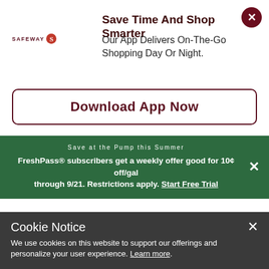Save Time And Shop Smarter
Our App Delivers On-The-Go Shopping Day Or Night.
Download App Now
Save at the Pump this Summer
FreshPass® subscribers get a weekly offer good for 10¢ off/gal through 9/21. Restrictions apply. Start Free Trial
Ice Cream & Novelties | Ice Cream
Cookie Notice
We use cookies on this website to support our offerings and personalize your user experience. Learn more.